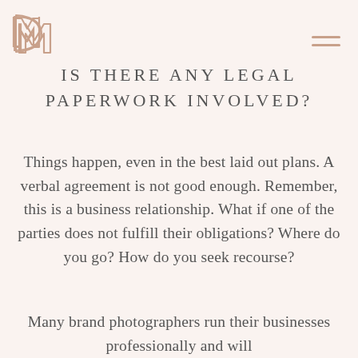Logo and navigation menu
IS THERE ANY LEGAL PAPERWORK INVOLVED?
Things happen, even in the best laid out plans. A verbal agreement is not good enough. Remember, this is a business relationship. What if one of the parties does not fulfill their obligations? Where do you go? How do you seek recourse?
Many brand photographers run their businesses professionally and will